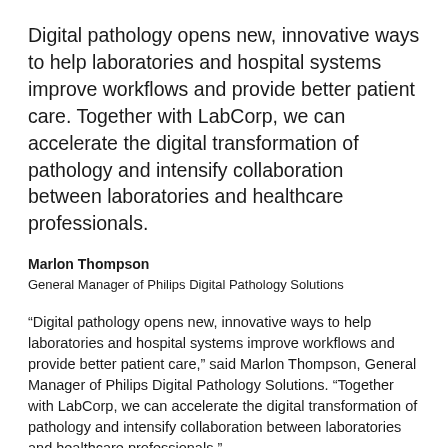Digital pathology opens new, innovative ways to help laboratories and hospital systems improve workflows and provide better patient care. Together with LabCorp, we can accelerate the digital transformation of pathology and intensify collaboration between laboratories and healthcare professionals.
Marlon Thompson
General Manager of Philips Digital Pathology Solutions
“Digital pathology opens new, innovative ways to help laboratories and hospital systems improve workflows and provide better patient care,” said Marlon Thompson, General Manager of Philips Digital Pathology Solutions. “Together with LabCorp, we can accelerate the digital transformation of pathology and intensify collaboration between laboratories and healthcare professionals.”